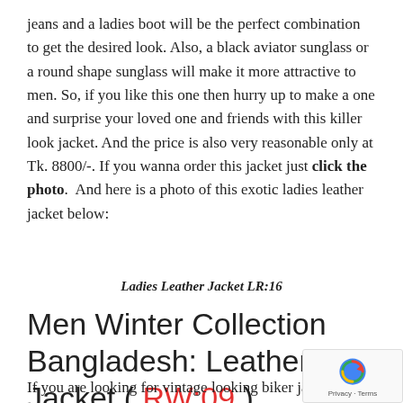jeans and a ladies boot will be the perfect combination to get the desired look. Also, a black aviator sunglass or a round shape sunglass will make it more attractive to men. So, if you like this one then hurry up to make a one and surprise your loved one and friends with this killer look jacket. And the price is also very reasonable only at Tk. 8800/-. If you wanna order this jacket just click the photo.  And here is a photo of this exotic ladies leather jacket below:
Ladies Leather Jacket LR:16
Men Winter Collection Bangladesh: Leather Jacket ( RW:09 )
If you are looking for vintage looking biker jacket the duel tone biker jacket will fulfill your desire. This jacket has